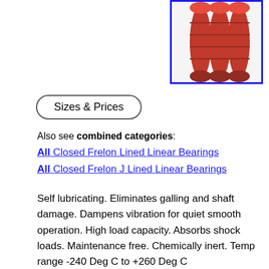[Figure (photo): Red cylindrical bearings or rollers stacked together, shown against a white/grey background, inside a blue border frame.]
Sizes & Prices
Also see combined categories:
All Closed Frelon Lined Linear Bearings
All Closed Frelon J Lined Linear Bearings
Self lubricating. Eliminates galling and shaft damage. Dampens vibration for quiet smooth operation. High load capacity. Absorbs shock loads. Maintenance free. Chemically inert. Temp range -240 Deg C to +260 Deg C
Frelon J = 10000 PV. Dry Running Max Surface Speed Frelon J = 0.7 mtrs / sec (140 ft / min). With Lubrication Max Surface Speed Frelon J = 2 mtrs / sec (400 ft /